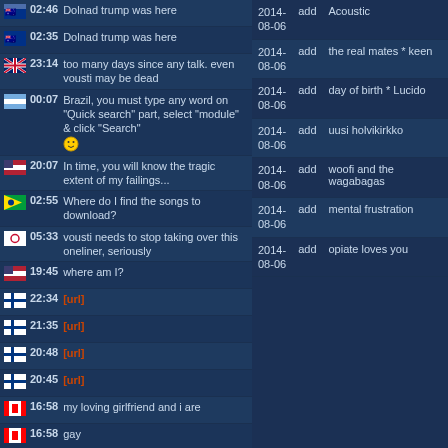|  |  |  |
| --- | --- | --- |
| 02:46 | AU | Dolnad trump was here |
| 02:35 | AU | Dolnad trump was here |
| 23:14 | UK | too many days since any talk. even vousti may be dead |
| 00:07 | AR | Brazil, you must type any word on "Quick search" part, select "module" & click "Search" 🙂 |
| 20:07 | US | In time, you will know the tragic extent of my failings... |
| 02:55 | BR | Where do I find the songs to download? |
| 05:33 | KR | vousti needs to stop taking over this oneliner, seriously |
| 19:45 | US | where am I? |
| 22:34 | FI | [url] |
| 21:35 | FI | [url] |
| 20:48 | FI | [url] |
| 20:45 | FI | [url] |
| 16:58 | CA | my loving girlfriend and i are |
| 16:58 | CA | gay |
| 14:49 | FI | GOTTA BLOW MY NOSE ON YOU! *SNIFF* |
| 14:05 | FI | Argentina, stop that "toxic masculinity" bullshit! 🙂 |
| 13:57 | FI | I will never know. |
| 13:56 | FI | Who am I? |
| 13:56 | FI | "settle what you are" |
| 12:00 | DE | algo music suxx |
| Date | Action | Name |
| --- | --- | --- |
| 2014-08-06 | add | Acoustic |
| 2014-08-06 | add | the real mates * keen |
| 2014-08-06 | add | day of birth * Lucido |
| 2014-08-06 | add | uusi holvikirkko |
| 2014-08-06 | add | woofi and the wagabagas |
| 2014-08-06 | add | mental frustration |
| 2014-08-06 | add | opiate loves you |